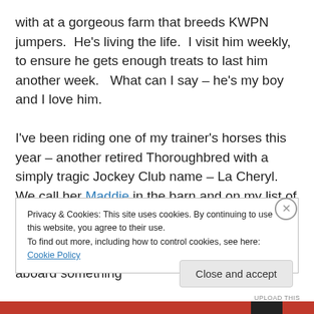with at a gorgeous farm that breeds KWPN jumpers.  He's living the life.  I visit him weekly, to ensure he gets enough treats to last him another week.   What can I say – he's my boy and I love him.

I've been riding one of my trainer's horses this year – another retired Thoroughbred with a simply tragic Jockey Club name – La Cheryl.  We call her Maddie in the barn and on my list of things to do in early in 2011 is to figure out a decent show name for her, because I will be damned if I'm going to sashay into the ring aboard something
Privacy & Cookies: This site uses cookies. By continuing to use this website, you agree to their use.
To find out more, including how to control cookies, see here: Cookie Policy